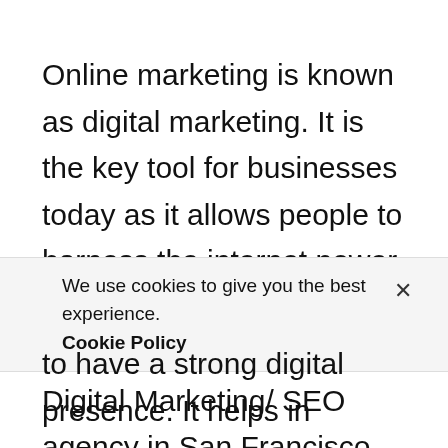Online marketing is known as digital marketing. It is the key tool for businesses today as it allows people to harness the internet power to take the businesses to next level. iWebHQ, a Digital Marketing/ SEO agency in San Francisco helps gain visibility, promotes website traffic and allows users to get engaged to convert the customers. Most competitors invest in digital strategy, and to have a strong digital presence. It helps in
We use cookies to give you the best experience. Cookie Policy